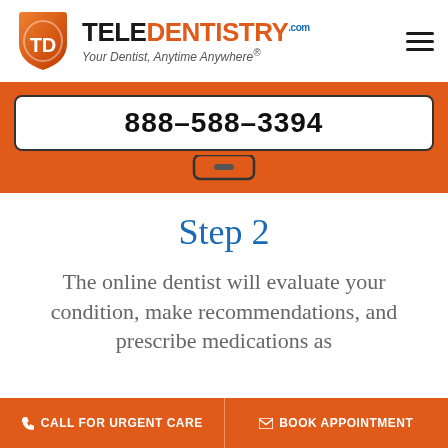TELEDENTISTRY.com — Your Dentist, Anytime Anywhere®
888-588-3394
Step 2
The online dentist will evaluate your condition, make recommendations, and prescribe medications as
CALL FOR URGENT CARE  |  BOOK APPOINTMENT